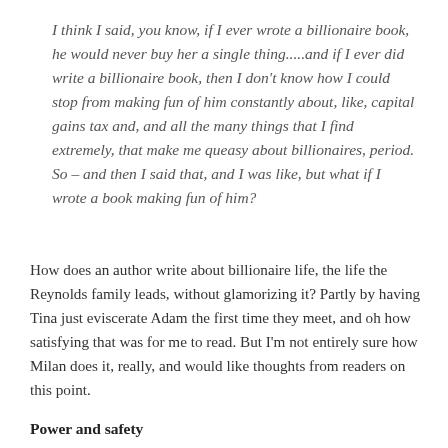I think I said, you know, if I ever wrote a billionaire book, he would never buy her a single thing.....and if I ever did write a billionaire book, then I don't know how I could stop from making fun of him constantly about, like, capital gains tax and, and all the many things that I find extremely, that make me queasy about billionaires, period. So – and then I said that, and I was like, but what if I wrote a book making fun of him?
How does an author write about billionaire life, the life the Reynolds family leads, without glamorizing it? Partly by having Tina just eviscerate Adam the first time they meet, and oh how satisfying that was for me to read. But I'm not entirely sure how Milan does it, really, and would like thoughts from readers on this point.
Power and safety